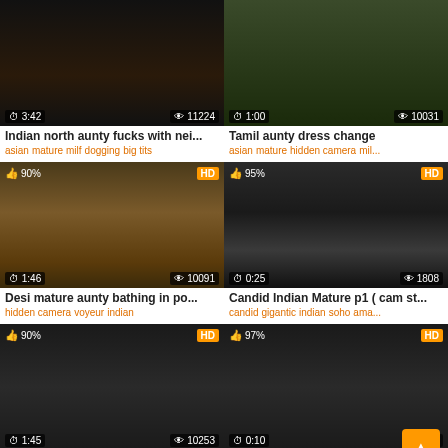[Figure (screenshot): Video thumbnail: Indian north aunty, dark scene, duration 3:42, views 11224]
Indian north aunty fucks with nei...
asian mature milf dogging big tits
[Figure (screenshot): Video thumbnail: Tamil aunty dress change, green shirt visible, duration 1:00, views 10031]
Tamil aunty dress change
asian mature hidden camera mil...
[Figure (screenshot): Video thumbnail: Desi mature aunty bathing outdoors, 90% rating, HD, duration 1:46, views 10091]
Desi mature aunty bathing in po...
hidden camera voyeur indian
[Figure (screenshot): Video thumbnail: Candid Indian Mature p1 cam st, 95% rating, HD, duration 0:25, views 1808]
Candid Indian Mature p1 ( cam st...
candid gigantic indian soho ama...
[Figure (screenshot): Video thumbnail: mallu boy plays from the shop, 90% rating, HD, duration 1:45, views 10253]
mallu boy plays from the shop wi...
[Figure (screenshot): Video thumbnail: Indian MILF fingered by colleague, 97% rating, HD, duration 0:10]
Indian MILF fingered by colleagu...